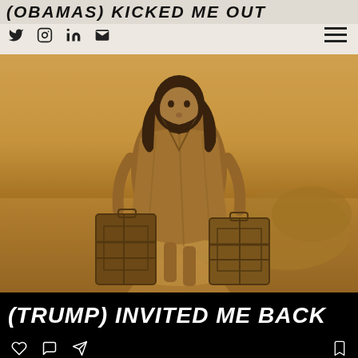(OBAMAS) KICKED ME OUT
[Figure (photo): Sepia-toned photo of a long-haired bearded man in a rough tunic carrying two old suitcases, walking along a rural path]
(TRUMP) INVITED ME BACK